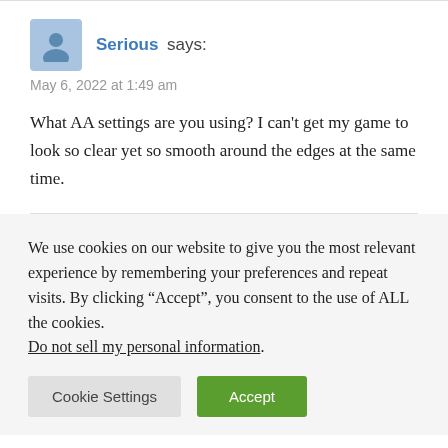Serious says:
May 6, 2022 at 1:49 am
What AA settings are you using? I can't get my game to look so clear yet so smooth around the edges at the same time.
We use cookies on our website to give you the most relevant experience by remembering your preferences and repeat visits. By clicking “Accept”, you consent to the use of ALL the cookies.
Do not sell my personal information.